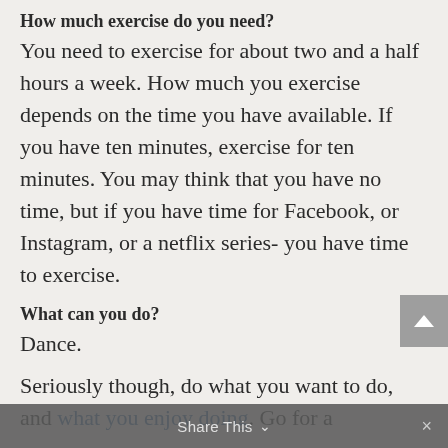How much exercise do you need?
You need to exercise for about two and a half hours a week. How much you exercise depends on the time you have available. If you have ten minutes, exercise for ten minutes. You may think that you have no time, but if you have time for Facebook, or Instagram, or a netflix series- you have time to exercise.
What can you do?
Dance.
Seriously though, do what you want to do, and what you enjoy doing. Go for a